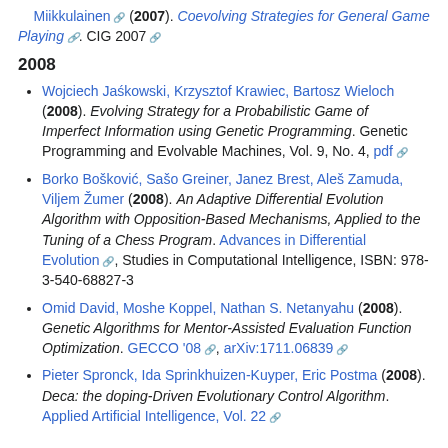Miikkulainen (2007). Coevolving Strategies for General Game Playing. CIG 2007
2008
Wojciech Jaśkowski, Krzysztof Krawiec, Bartosz Wieloch (2008). Evolving Strategy for a Probabilistic Game of Imperfect Information using Genetic Programming. Genetic Programming and Evolvable Machines, Vol. 9, No. 4, pdf
Borko Bošković, Sašo Greiner, Janez Brest, Aleš Zamuda, Viljem Žumer (2008). An Adaptive Differential Evolution Algorithm with Opposition-Based Mechanisms, Applied to the Tuning of a Chess Program. Advances in Differential Evolution, Studies in Computational Intelligence, ISBN: 978-3-540-68827-3
Omid David, Moshe Koppel, Nathan S. Netanyahu (2008). Genetic Algorithms for Mentor-Assisted Evaluation Function Optimization. GECCO '08, arXiv:1711.06839
Pieter Spronck, Ida Sprinkhuizen-Kuyper, Eric Postma (2008). Deca: the doping-Driven Evolutionary Control Algorithm. Applied Artificial Intelligence, Vol. 22